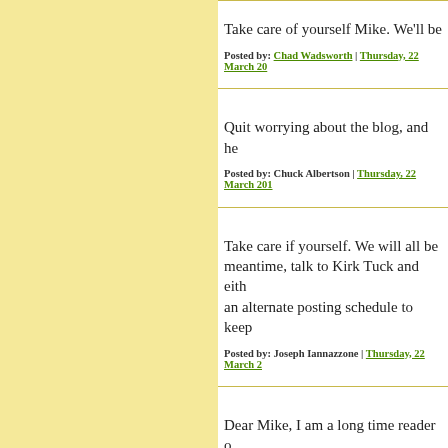Take care of yourself Mike. We'll be
Posted by: Chad Wadsworth | Thursday, 22 March 20
Quit worrying about the blog, and he
Posted by: Chuck Albertson | Thursday, 22 March 201
Take care if yourself. We will all be meantime, talk to Kirk Tuck and eith an alternate posting schedule to keep
Posted by: Joseph Iannazzone | Thursday, 22 March 2
Dear Mike, I am a long time reader o writing, photography and general ou commented here before as I am happ (writing). However, I just wanted to